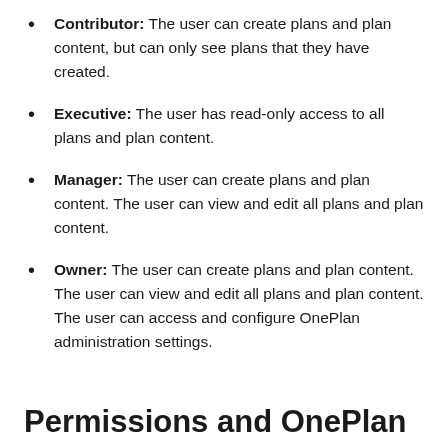Contributor: The user can create plans and plan content, but can only see plans that they have created.
Executive: The user has read-only access to all plans and plan content.
Manager: The user can create plans and plan content. The user can view and edit all plans and plan content.
Owner: The user can create plans and plan content. The user can view and edit all plans and plan content. The user can access and configure OnePlan administration settings.
Permissions and OnePlan